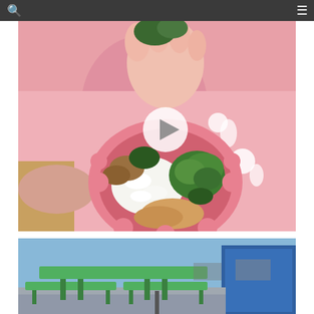Navigation bar with search and menu icons
[Figure (photo): A baby in a pink bib/shirt sitting in a high chair, holding food with their hand. A pink scalloped bowl is held up showing rice, broccoli, chicken and vegetables inside. A video play button overlay is visible in the center of the image.]
[Figure (photo): Outdoor seating area with green picnic-style benches and tables, and a blue structure on the right side. Pavement visible in background.]